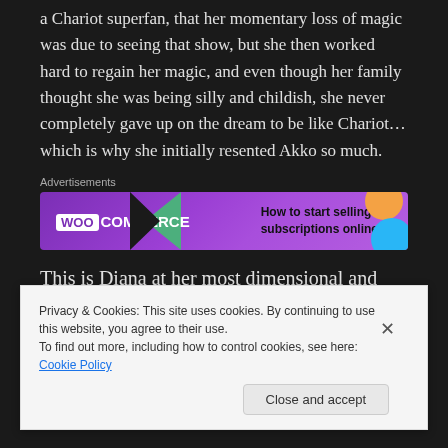a Chariot superfan, that her momentary loss of magic was due to seeing that show, but she then worked hard to regain her magic, and even though her family thought she was being silly and childish, she never completely gave up on the dream to be like Chariot… which is why she initially resented Akko so much.
Advertisements
[Figure (screenshot): WooCommerce advertisement banner: purple background with WooCommerce logo and text 'How to start selling subscriptions online']
This is Diana at her most dimensional and likable:
Privacy & Cookies: This site uses cookies. By continuing to use this website, you agree to their use.
To find out more, including how to control cookies, see here: Cookie Policy
Close and accept